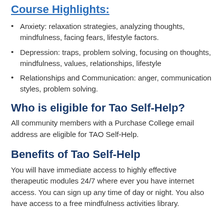Course Highlights:
Anxiety: relaxation strategies, analyzing thoughts, mindfulness, facing fears, lifestyle factors.
Depression: traps, problem solving, focusing on thoughts, mindfulness, values, relationships, lifestyle
Relationships and Communication: anger, communication styles, problem solving.
Who is eligible for Tao Self-Help?
All community members with a Purchase College email address are eligible for TAO Self-Help.
Benefits of Tao Self-Help
You will have immediate access to highly effective therapeutic modules 24/7 where ever you have internet access. You can sign up any time of day or night. You also have access to a free mindfulness activities library.